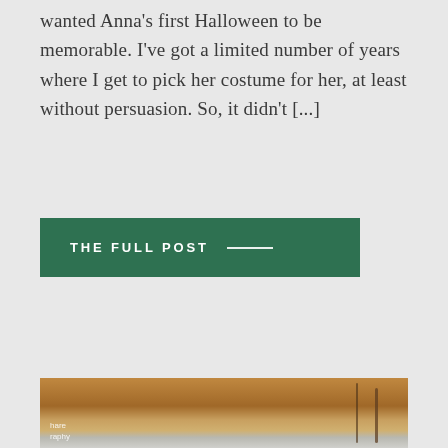wanted Anna's first Halloween to be memorable. I've got a limited number of years where I get to pick her costume for her, at least without persuasion. So, it didn't [...]
THE FULL POST —
[Figure (photo): A close-up photo showing a warm wooden surface with hanging wires or cords, and a lighter gray textured surface at the bottom. A small watermark reads 'hare' and 'raphy' (partially visible).]